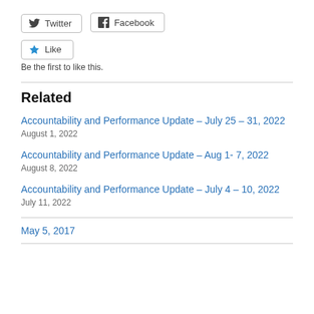[Figure (other): Twitter and Facebook social share buttons]
[Figure (other): Like button with star icon]
Be the first to like this.
Related
Accountability and Performance Update – July 25 – 31, 2022
August 1, 2022
Accountability and Performance Update – Aug 1- 7, 2022
August 8, 2022
Accountability and Performance Update – July 4 – 10, 2022
July 11, 2022
May 5, 2017